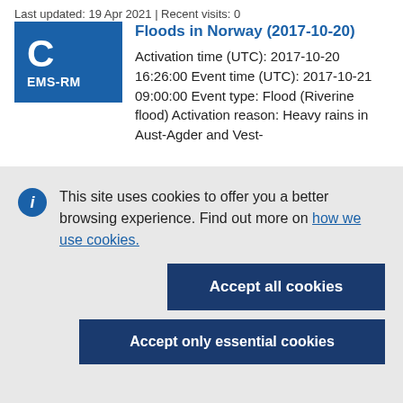Last updated: 19 Apr 2021 | Recent visits: 0
[Figure (logo): Blue square icon with large letter C and text EMS-RM]
Floods in Norway (2017-10-20)
Activation time (UTC): 2017-10-20 16:26:00 Event time (UTC): 2017-10-21 09:00:00 Event type: Flood (Riverine flood) Activation reason: Heavy rains in Aust-Agder and Vest-
This site uses cookies to offer you a better browsing experience. Find out more on how we use cookies.
Accept all cookies
Accept only essential cookies